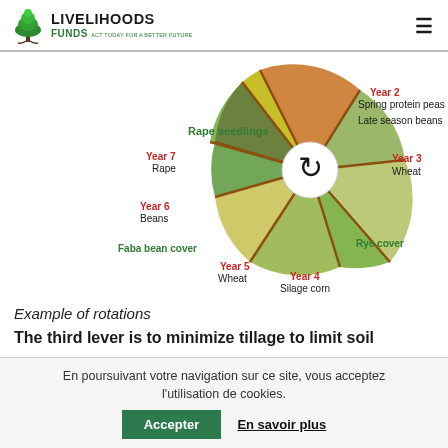Livelihoods Funds — Act today for a better future
[Figure (infographic): Circular crop rotation diagram showing 7 years of crops arranged in a pie/wheel layout. Year 2: Spring protein peas, Late season beans. Year 3: Wheat. Year 4: Silage corn. Year 5: Wheat. Year 6: Beans, Faba bean cover. Year 7: Rape. Also labeled: Rape seedlings, Rye cover. Center shows a recycling/rotation symbol.]
Example of rotations
The third lever is to minimize tillage to limit soil
En poursuivant votre navigation sur ce site, vous acceptez l'utilisation de cookies.
Accepter
En savoir plus